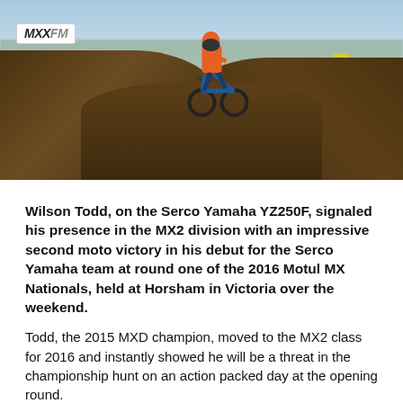[Figure (photo): Motocross rider on a Yamaha YZ250F jumping over a dirt mound during a race. MXXFM logo visible in top left corner. Crowd and trees visible in background.]
Wilson Todd, on the Serco Yamaha YZ250F, signaled his presence in the MX2 division with an impressive second moto victory in his debut for the Serco Yamaha team at round one of the 2016 Motul MX Nationals, held at Horsham in Victoria over the weekend.
Todd, the 2015 MXD champion, moved to the MX2 class for 2016 and instantly showed he will be a threat in the championship hunt on an action packed day at the opening round.
But it wasn‰Ûªt all smooth sailing for Todd who overcame a big fall in moto one to rebound for the victory in race two.